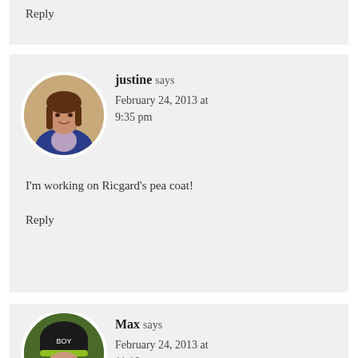Reply
justine says
February 24, 2013 at 9:35 pm
I'm working on Ricgard's pea coat!
Reply
Max says
February 24, 2013 at 11:10 pm